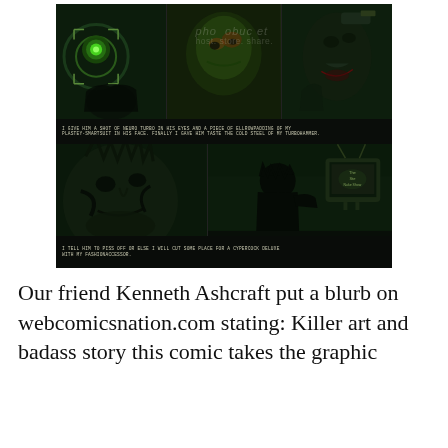[Figure (illustration): Comic book page panels with dark green-toned artwork showing a cyberpunk character. Top row has three panels: left panel shows a glowing green circular device, center panel shows a grotesque face with green/orange coloring with Photobucket watermark overlay, right panel shows a monstrous creature. A caption strip reads: 'I GIVE HIM A SHOT OF NEURO TURBO IN HIS EYES AND A PIECE OF ELLROWPADDING OF MY PLASTEY-SMARTSUIT IN HIS FACE. FINALLY I GAVE HIM TASTE THE COLD STEEL OF MY TURBOHAMMER.' Bottom row has two panels: left shows a large muscular dark character face close-up, right shows a silhouetted figure watching a TV screen. Bottom caption reads: 'I TELL HIM TO PISS OFF OR ELSE I WILL CUT SOME PLACE FOR A CYPERCOCK DELUXE WITH MY FASHIONACCESSOR.']
Our friend Kenneth Ashcraft put a blurb on webcomicsnation.com stating: Killer art and badass story this comic takes the graphic